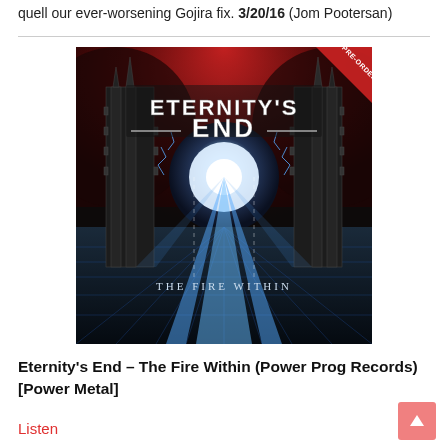quell our ever-worsening Gojira fix. 3/20/16 (Jom Pootersan)
[Figure (illustration): Album cover for Eternity's End – The Fire Within. Dark sci-fi/fantasy artwork with red and blue tones showing mirrored futuristic towers and light beams. Band name ETERNITY'S END in metallic text at top, album title THE FIRE WITHIN in smaller text near bottom. PRE-ORDER banner in top right corner.]
Eternity's End – The Fire Within (Power Prog Records) [Power Metal]
Listen